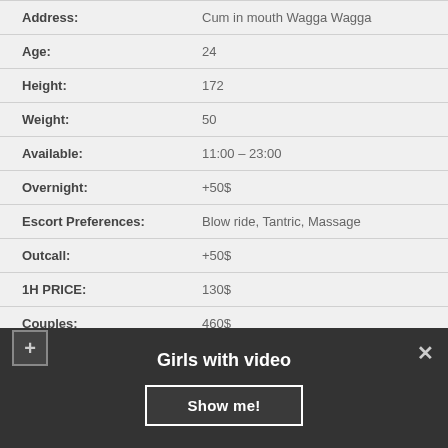| Field | Value |
| --- | --- |
| Address: | Cum in mouth Wagga Wagga |
| Age: | 24 |
| Height: | 172 |
| Weight: | 50 |
| Available: | 11:00 – 23:00 |
| Overnight: | +50$ |
| Escort Preferences: | Blow ride, Tantric, Massage |
| Outcall: | +50$ |
| 1H PRICE: | 130$ |
| Couples: | 460$ |
| Tits: | E |
Girls with video
Show me!